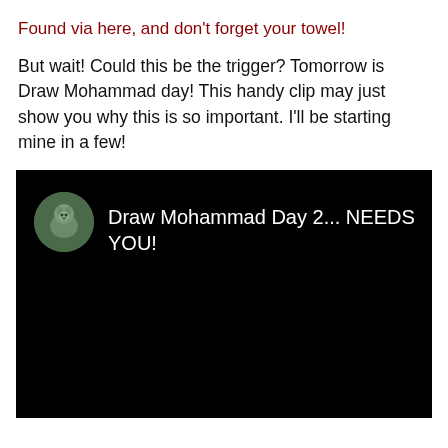Found via here, and don't forget your towel!
But wait! Could this be the trigger? Tomorrow is Draw Mohammad day! This handy clip may just show you why this is so important. I'll be starting mine in a few!
[Figure (screenshot): Black video player thumbnail with a small circular avatar image of a squirrel on the left and white text reading 'Draw Mohammad Day 2... NEEDS YOU!']